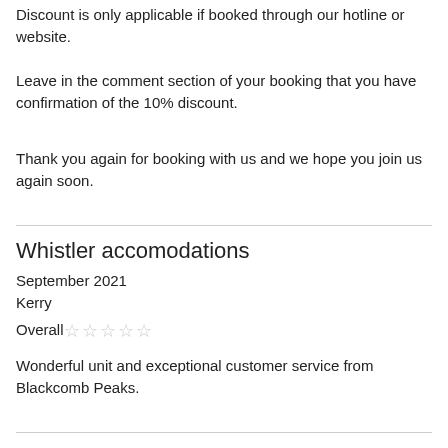Discount is only applicable if booked through our hotline or website.
Leave in the comment section of your booking that you have confirmation of the 10% discount.
Thank you again for booking with us and we hope you join us again soon.
Whistler accomodations
September 2021
Kerry
Overall ☆☆☆☆☆
Wonderful unit and exceptional customer service from Blackcomb Peaks.